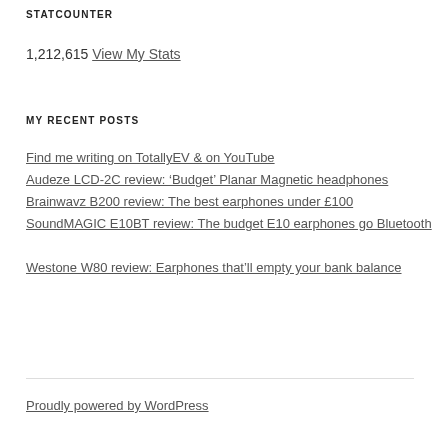STATCOUNTER
1,212,615 View My Stats
MY RECENT POSTS
Find me writing on TotallyEV & on YouTube
Audeze LCD-2C review: ‘Budget’ Planar Magnetic headphones
Brainwavz B200 review: The best earphones under £100
SoundMAGIC E10BT review: The budget E10 earphones go Bluetooth
Westone W80 review: Earphones that’ll empty your bank balance
Proudly powered by WordPress